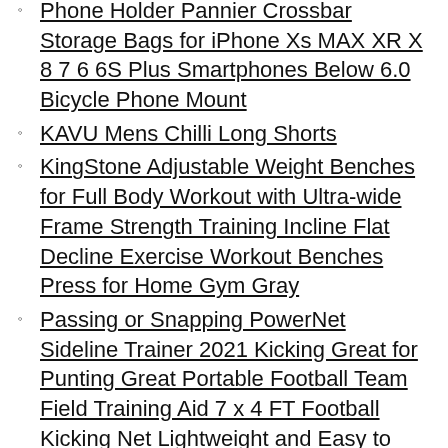Phone Holder Pannier Crossbar Storage Bags for iPhone Xs MAX XR X 8 7 6 6S Plus Smartphones Below 6.0 Bicycle Phone Mount
KAVU Mens Chilli Long Shorts
KingStone Adjustable Weight Benches for Full Body Workout with Ultra-wide Frame Strength Training Incline Flat Decline Exercise Workout Benches Press for Home Gym Gray
Passing or Snapping PowerNet Sideline Trainer 2021 Kicking Great for Punting Great Portable Football Team Field Training Aid 7 x 4 FT Football Kicking Net Lightweight and Easy to Assemble
Reebok Mens Classics Trackpant